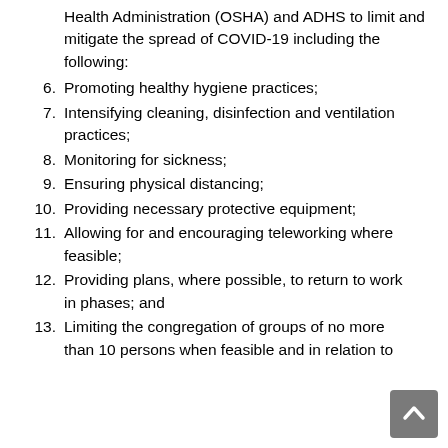Health Administration (OSHA) and ADHS to limit and mitigate the spread of COVID-19 including the following:
6. Promoting healthy hygiene practices;
7. Intensifying cleaning, disinfection and ventilation practices;
8. Monitoring for sickness;
9. Ensuring physical distancing;
10. Providing necessary protective equipment;
11. Allowing for and encouraging teleworking where feasible;
12. Providing plans, where possible, to return to work in phases; and
13. Limiting the congregation of groups of no more than 10 persons when feasible and in relation to